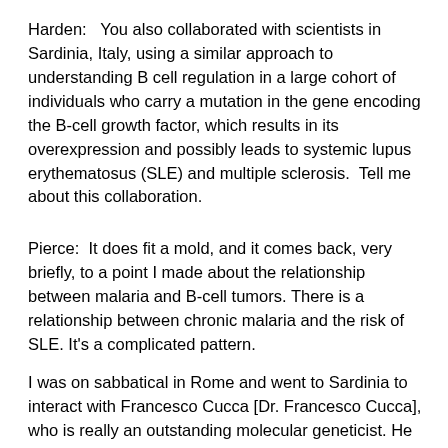Harden:   You also collaborated with scientists in Sardinia, Italy, using a similar approach to understanding B cell regulation in a large cohort of individuals who carry a mutation in the gene encoding the B-cell growth factor, which results in its overexpression and possibly leads to systemic lupus erythematosus (SLE) and multiple sclerosis.  Tell me about this collaboration.
Pierce:  It does fit a mold, and it comes back, very briefly, to a point I made about the relationship between malaria and B-cell tumors. There is a relationship between chronic malaria and the risk of SLE. It's a complicated pattern.
I was on sabbatical in Rome and went to Sardinia to interact with Francesco Cucca [Dr. Francesco Cucca], who is really an outstanding molecular geneticist. He discovered a mutation in the population in Sardinia that has the highest risk factor for serious autoimmune